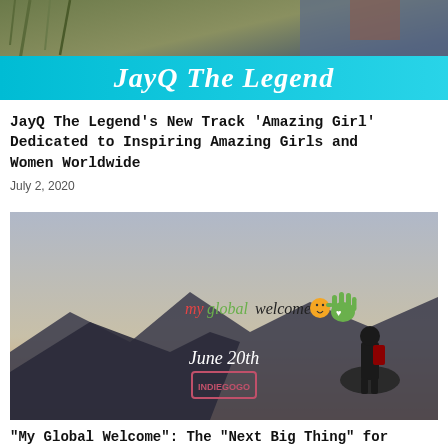[Figure (photo): Top banner image with a cyan/light-blue bar overlay showing text 'JayQ The Legend' in white italic font, with a background photo of grass/reeds and colorful fabric]
JayQ The Legend's New Track ‘Amazing Girl’ Dedicated to Inspiring Amazing Girls and Women Worldwide
July 2, 2020
[Figure (photo): Promotional image for 'My Global Welcome' Indiegogo campaign launching June 20th. Shows a person standing on a mountain silhouetted against a hazy sky, with the myglobalwelcome logo (green hand with smiley face) and an Indiegogo box in the center]
“My Global Welcome”: The “Next Big Thing” for